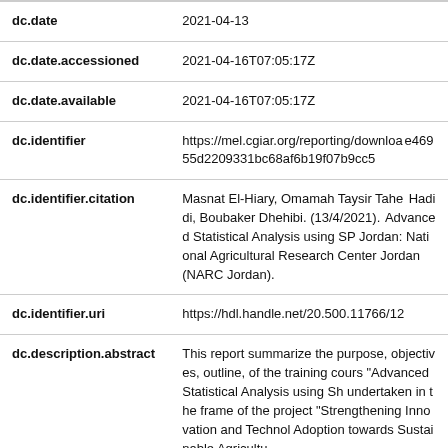| Field | Value |
| --- | --- |
| dc.date | 2021-04-13 |
| dc.date.accessioned | 2021-04-16T07:05:17Z |
| dc.date.available | 2021-04-16T07:05:17Z |
| dc.identifier | https://mel.cgiar.org/reporting/downloade46955d2209331bc68af6b19f07b9cc5 |
| dc.identifier.citation | Masnat El-Hiary, Omamah Taysir Taher Hadidi, Boubaker Dhehibi. (13/4/2021). Advanced Statistical Analysis using SP Jordan: National Agricultural Research Center Jordan (NARC Jordan). |
| dc.identifier.uri | https://hdl.handle.net/20.500.11766/12 |
| dc.description.abstract | This report summarize the purpose, objectives, outline, of the training cours "Advanced Statistical Analysis using Sh undertaken in the frame of the project "Strengthening Innovation and Technol Adoption towards Sustainable Agricultu |